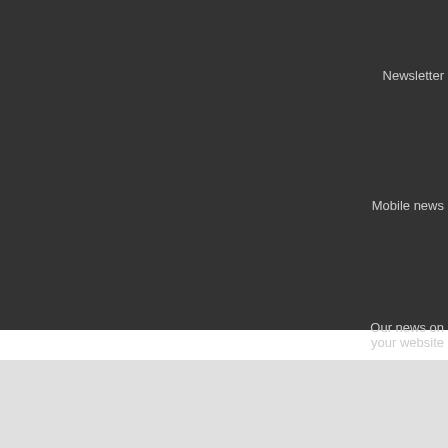Newsletter
Mobile news
Our news on your website
About us | C... Edito... Copyright 1973-2017. Scand... Tel: +47 22 44 ...